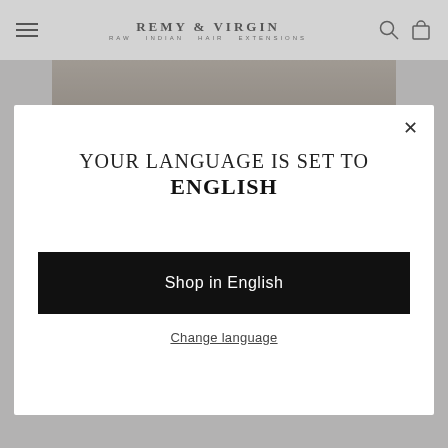REMY & VIRGIN RAW INDIAN HAIR EXTENSIONS
[Figure (screenshot): Website header with hamburger menu on left, brand logo REMY & VIRGIN RAW INDIAN HAIR EXTENSIONS in center, search and cart icons on right, over a light gray background with a partial hero image visible.]
YOUR LANGUAGE IS SET TO ENGLISH
Shop in English
Change language